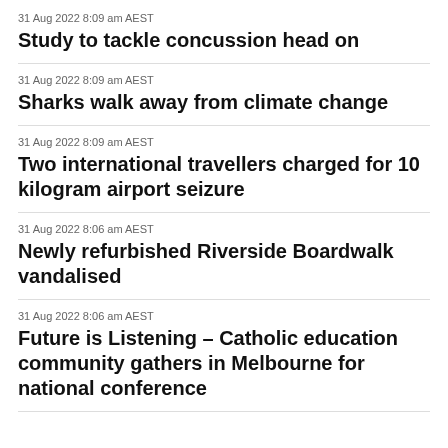31 Aug 2022 8:09 am AEST
Study to tackle concussion head on
31 Aug 2022 8:09 am AEST
Sharks walk away from climate change
31 Aug 2022 8:09 am AEST
Two international travellers charged for 10 kilogram airport seizure
31 Aug 2022 8:06 am AEST
Newly refurbished Riverside Boardwalk vandalised
31 Aug 2022 8:06 am AEST
Future is Listening – Catholic education community gathers in Melbourne for national conference